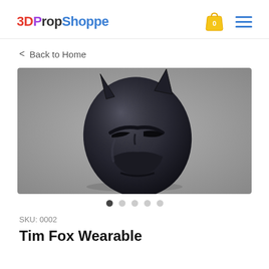3DPropShoppe
< Back to Home
[Figure (photo): 3D rendered Batman-style wearable helmet/cowl in dark grey/black color, shown at an angle against a grey background. The mask features pointed bat ears and eye cutouts.]
SKU: 0002
Tim Fox Wearable